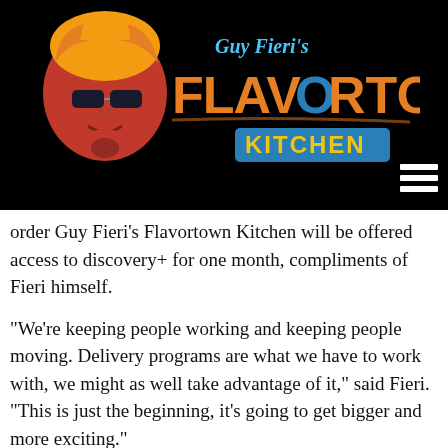[Figure (logo): Guy Fieri's Flavortown Kitchen logo on black background with illustrated Guy Fieri character]
order Guy Fieri's Flavortown Kitchen will be offered access to discovery+ for one month, compliments of Fieri himself.
“We’re keeping people working and keeping people moving. Delivery programs are what we have to work with, we might as well take advantage of it,” said Fieri. “This is just the beginning, it’s going to get bigger and more exciting.”
“Tournament of Champions II” premieres on Food Network at 8 p.m. ET/PT on March 7 and is